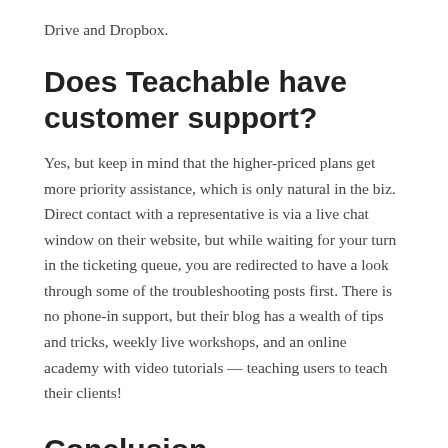Drive and Dropbox.
Does Teachable have customer support?
Yes, but keep in mind that the higher-priced plans get more priority assistance, which is only natural in the biz. Direct contact with a representative is via a live chat window on their website, but while waiting for your turn in the ticketing queue, you are redirected to have a look through some of the troubleshooting posts first. There is no phone-in support, but their blog has a wealth of tips and tricks, weekly live workshops, and an online academy with video tutorials — teaching users to teach their clients!
Conclusion
We hope this review has helped define and introduce some terms associated with learning management systems. We chose to